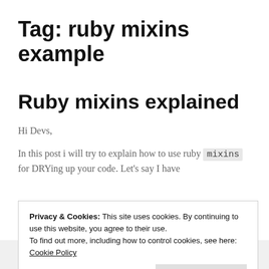Tag: ruby mixins example
Ruby mixins explained
Hi Devs,
In this post i will try to explain how to use ruby mixins for DRYing up your code. Let’s say I have
Privacy & Cookies: This site uses cookies. By continuing to use this website, you agree to their use.
To find out more, including how to control cookies, see here: Cookie Policy
Close and accept
class Car